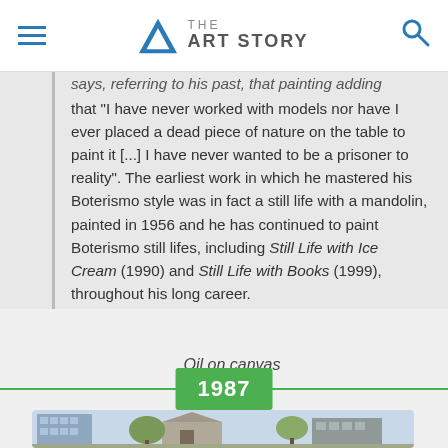THE ART STORY
that "I have never worked with models nor have I ever placed a dead piece of nature on the table to paint it [...] I have never wanted to be a prisoner to reality". The earliest work in which he mastered his Boterismo style was in fact a still life with a mandolin, painted in 1956 and he has continued to paint Boterismo still lifes, including Still Life with Ice Cream (1990) and Still Life with Books (1999), throughout his long career.
Oil on canvas
1987
[Figure (photo): Street view photograph showing buildings/architecture]